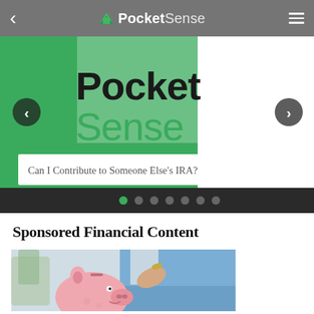PocketSense
[Figure (screenshot): PocketSense website hero slider showing brand logo and article teaser: 'Can I Contribute to Someone Else's IRA?' with green branding, navigation arrows, and dot indicators]
Sponsored Financial Content
[Figure (photo): Woman in blue denim shirt inserting a coin into a pink piggy bank — savings/finance stock photo]